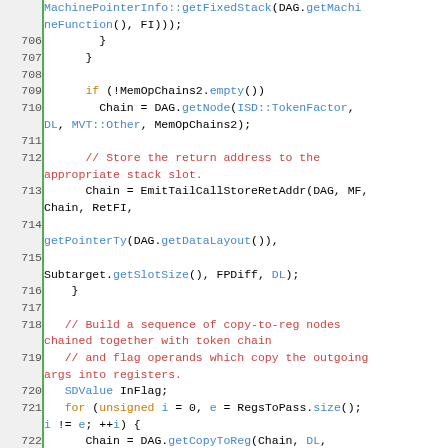[Figure (screenshot): Source code snippet showing C++ code lines 706-727, with syntax highlighting. Line numbers in gray on left with green border, keywords in orange, type names and method names in blue, comments in red/orange.]